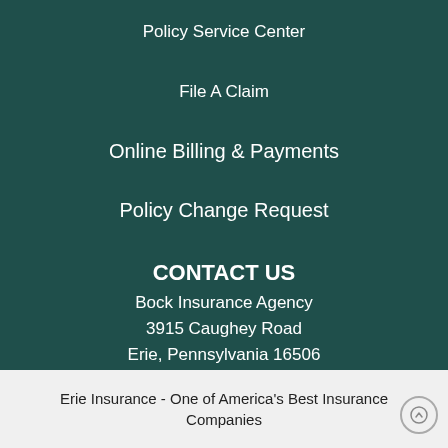Policy Service Center
File A Claim
Online Billing & Payments
Policy Change Request
CONTACT US
Bock Insurance Agency
3915 Caughey Road
Erie, Pennsylvania 16506
Erie Insurance - One of America's Best Insurance Companies